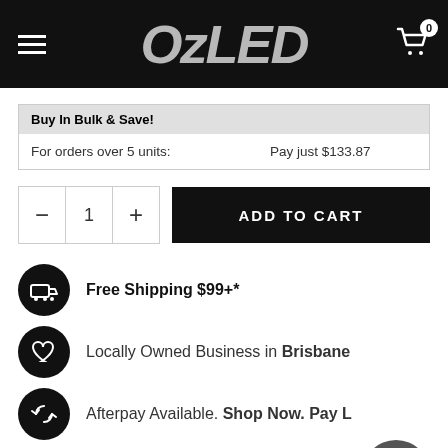OzLED
| Buy In Bulk & Save! |  |
| --- | --- |
| For orders over 5 units: | Pay just $133.87 |
1  ADD TO CART
Free Shipping $99+*
Locally Owned Business in Brisbane
Afterpay Available. Shop Now. Pay L
Manufacturer Warranties